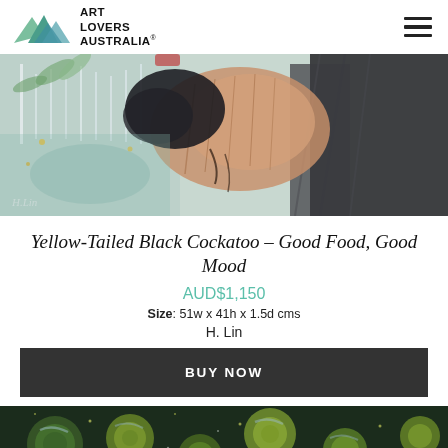Art Lovers Australia
[Figure (photo): Close-up detail of a painting of a Yellow-Tailed Black Cockatoo with expressive brushwork, showing feathers and a branch, with an artist signature 'H.Lin' in the lower left corner.]
Yellow-Tailed Black Cockatoo – Good Food, Good Mood
AUD$1,150
Size: 51w x 41h x 1.5d cms
H. Lin
BUY NOW
[Figure (photo): Detail of another painting with dark background featuring circular green and yellow shapes resembling lily pads or bubbles with speckled texture.]